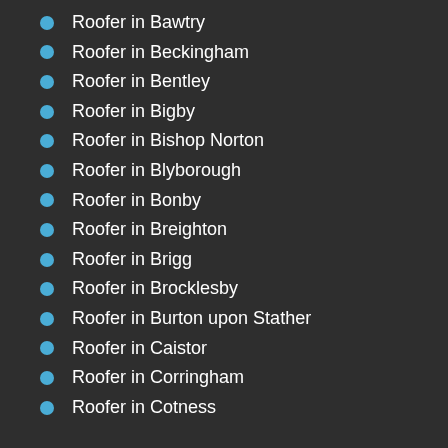Roofer in Bawtry
Roofer in Beckingham
Roofer in Bentley
Roofer in Bigby
Roofer in Bishop Norton
Roofer in Blyborough
Roofer in Bonby
Roofer in Breighton
Roofer in Brigg
Roofer in Brocklesby
Roofer in Burton upon Stather
Roofer in Caistor
Roofer in Corringham
Roofer in Cotness